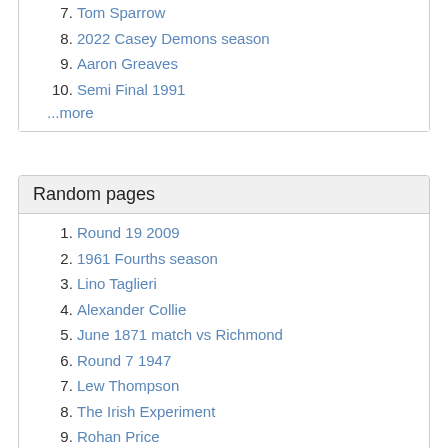7. Tom Sparrow
8. 2022 Casey Demons season
9. Aaron Greaves
10. Semi Final 1991
...more
Random pages
1. Round 19 2009
2. 1961 Fourths season
3. Lino Taglieri
4. Alexander Collie
5. June 1871 match vs Richmond
6. Round 7 1947
7. Lew Thompson
8. The Irish Experiment
9. Rohan Price
10. 1954 Thirds Preliminary Final
11. 1877 May Match vs North Fitzroy
12. 1987 Panasonic Cup Semi Final
13. Round 17 2010